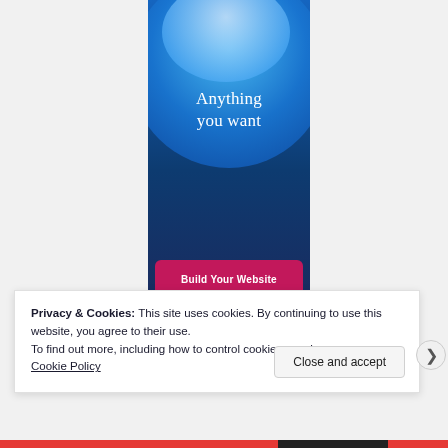[Figure (illustration): Advertisement banner with blue gradient background, overlapping circular shapes in light blue/white, white serif text reading 'Anything you want', and a pink/magenta button labeled 'Build Your Website']
Privacy & Cookies: This site uses cookies. By continuing to use this website, you agree to their use.
To find out more, including how to control cookies, see here: Cookie Policy
Close and accept